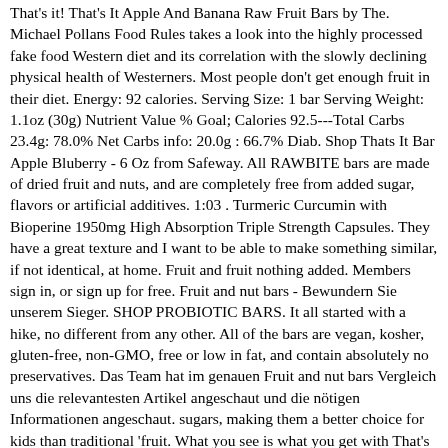That's it! That's It Apple And Banana Raw Fruit Bars by The. Michael Pollans Food Rules takes a look into the highly processed fake food Western diet and its correlation with the slowly declining physical health of Westerners. Most people don't get enough fruit in their diet. Energy: 92 calories. Serving Size: 1 bar Serving Weight: 1.1oz (30g) Nutrient Value % Goal; Calories 92.5---Total Carbs 23.4g: 78.0% Net Carbs info: 20.0g : 66.7% Diab. Shop Thats It Bar Apple Bluberry - 6 Oz from Safeway. All RAWBITE bars are made of dried fruit and nuts, and are completely free from added sugar, flavors or artificial additives. 1:03 . Turmeric Curcumin with Bioperine 1950mg High Absorption Triple Strength Capsules. They have a great texture and I want to be able to make something similar, if not identical, at home. Fruit and fruit nothing added. Members sign in, or sign up for free. Fruit and nut bars - Bewundern Sie unserem Sieger. SHOP PROBIOTIC BARS. It all started with a hike, no different from any other. All of the bars are vegan, kosher, gluten-free, non-GMO, free or low in fat, and contain absolutely no preservatives. Das Team hat im genauen Fruit and nut bars Vergleich uns die relevantesten Artikel angeschaut und die nötigen Informationen angeschaut. sugars, making them a better choice for kids than traditional 'fruit. What you see is what you get with That's It Fruit Bars, a fruit-centric company aiming to make nature's candy available to people everywhere. FRUIT BARS. Browse our wide selection of Cereal Bars & Bites for Delivery or Drive Up & Go to pick up at the store! Ingredients: Best Seller, Unique, Pack, Made, beloved, Go...